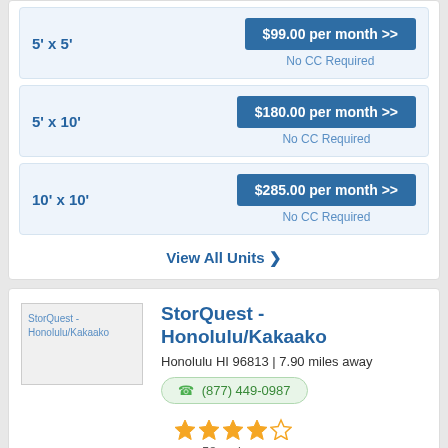| Unit Size | Price |
| --- | --- |
| 5' x 5' | $99.00 per month >> |
| 5' x 10' | $180.00 per month >> |
| 10' x 10' | $285.00 per month >> |
View All Units
StorQuest - Honolulu/Kakaako
Honolulu HI 96813 | 7.90 miles away
(877) 449-0987
58 reviews
8' x 12'  $245.00 per month >>